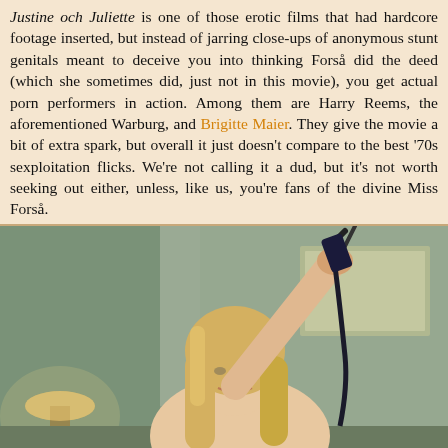Justine och Juliette is one of those erotic films that had hardcore footage inserted, but instead of jarring close-ups of anonymous stunt genitals meant to deceive you into thinking Forså did the deed (which she sometimes did, just not in this movie), you get actual porn performers in action. Among them are Harry Reems, the aforementioned Warburg, and Brigitte Maier. They give the movie a bit of extra spark, but overall it just doesn't compare to the best '70s sexploitation flicks. We're not calling it a dud, but it's not worth seeking out either, unless, like us, you're fans of the divine Miss Forså.
[Figure (photo): A blonde woman in a room, holding up a dark ribbon or strap with one arm raised, photographed from a slightly low angle. The background shows a softly lit interior with green-gray walls.]